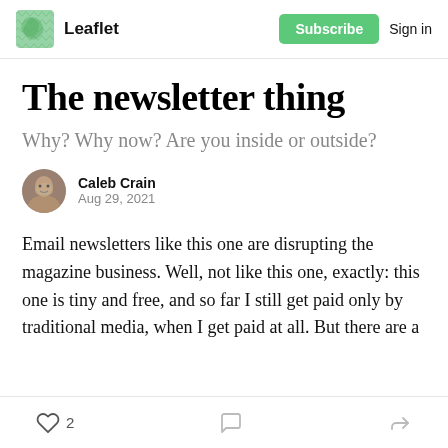Leaflet  Subscribe  Sign in
The newsletter thing
Why? Why not? Are you inside or outside?
Caleb Crain
Aug 29, 2021
Email newsletters like this one are disrupting the magazine business. Well, not like this one, exactly: this one is tiny and free, and so far I still get paid only by traditional media, when I get paid at all. But there are a
2  (comment icon)  (share icon)